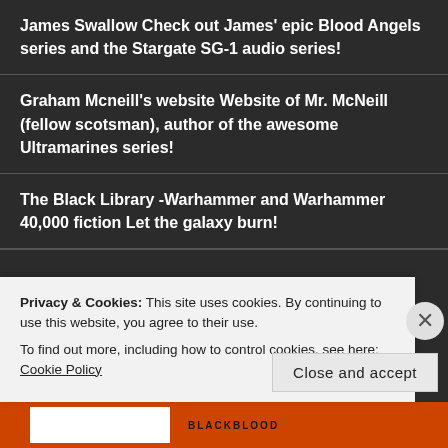James Swallow Check out James' epic Blood Angels series and the Stargate SG-1 audio series!
Graham Mcneill's website Website of Mr. McNeill (fellow scotsman), author of the awesome Ultramarines series!
The Black Library -Warhammer and Warhammer 40,000 fiction Let the galaxy burn!
Privacy & Cookies: This site uses cookies. By continuing to use this website, you agree to their use.
To find out more, including how to control cookies, see here: Cookie Policy
Close and accept